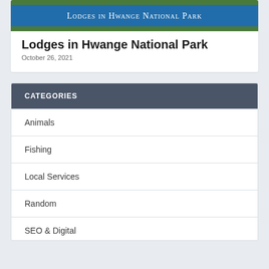[Figure (photo): Banner image for Lodges in Hwange National Park with text overlay on blue background]
Lodges in Hwange National Park
October 26, 2021
CATEGORIES
Animals
Fishing
Local Services
Random
SEO & Digital